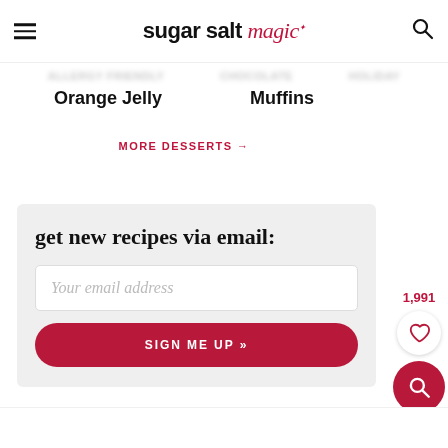sugar salt magic
Orange Jelly
Muffins
MORE DESSERTS →
get new recipes via email:
Your email address
SIGN ME UP »
1,991